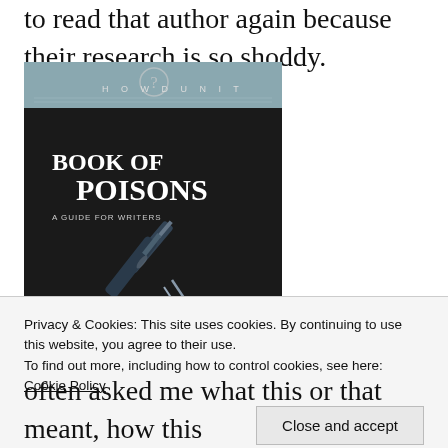to read that author again because their research is so shoddy.
[Figure (photo): Book cover of 'Howdunit Book of Poisons: A Guide for Writers' showing a syringe on a dark background with a light blue header band.]
Privacy & Cookies: This site uses cookies. By continuing to use this website, you agree to their use.
To find out more, including how to control cookies, see here: Cookie Policy
Close and accept
often asked me what this or that meant, how this